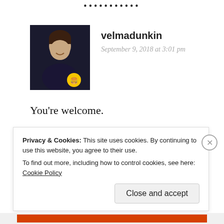••••••••••
velmadunkin
September 9, 2018 at 3:01 pm
You're welcome.
★ Like
Reply
Privacy & Cookies: This site uses cookies. By continuing to use this website, you agree to their use.
To find out more, including how to control cookies, see here: Cookie Policy
Close and accept